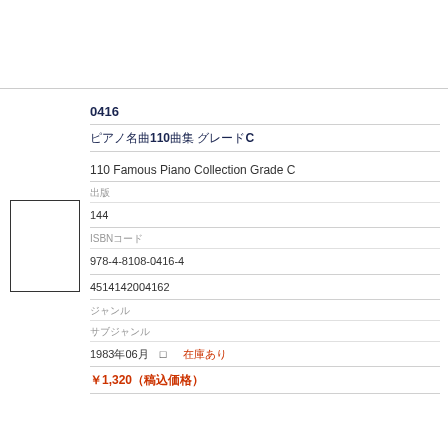[Figure (illustration): Small thumbnail image placeholder box on the left side]
0416
ピアノ名曲110曲集 グレードC
110 Famous Piano Collection Grade C
出版
144
ISBNコード
978-4-8108-0416-4
4514142004162
ジャンル
サブジャンル
1983年06月　□　在庫あり
￥1,320（税込価格）